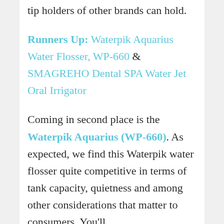tip holders of other brands can hold.
Runners Up: Waterpik Aquarius Water Flosser, WP-660 & SMAGREHO Dental SPA Water Jet Oral Irrigator
Coming in second place is the Waterpik Aquarius (WP-660). As expected, we find this Waterpik water flosser quite competitive in terms of tank capacity, quietness and among other considerations that matter to consumers. You'll